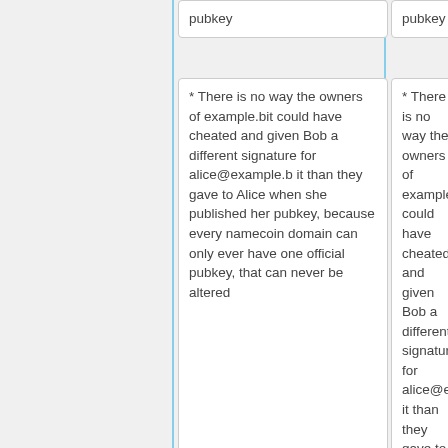pubkey
pubkey
* There is no way the owners of example.bit could have cheated and given Bob a different signature for alice@example.bit than they gave to Alice when she published her pubkey, because every namecoin domain can only ever have one official pubkey, that can never be altered
* There is no way the owners of example.bit could have cheated and given Bob a different signature for alice@example.bit than they gave to Alice when she published her pubkey, because every namecoin domain can only ever have one official pubkey, that can never be altered